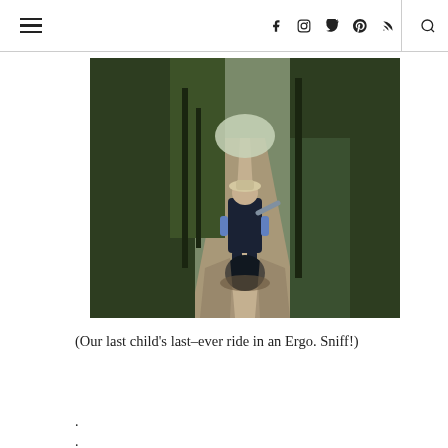☰  [facebook] [instagram] [twitter] [pinterest] [rss] | [search]
[Figure (photo): A person walking along a tree-lined path carrying a young child in an Ergo baby carrier on their back, viewed from behind. The path is dappled with sunlight and surrounded by lush green trees and grass.]
(Our last child's last-ever ride in an Ergo. Sniff!)
.
.